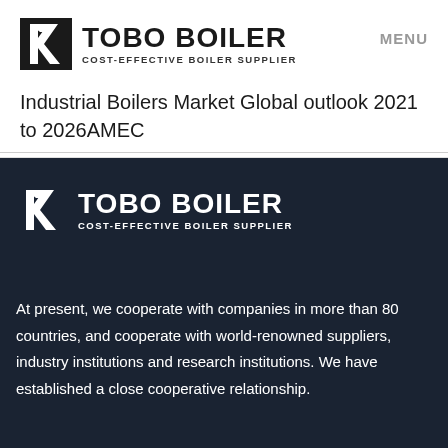TOBO BOILER - COST-EFFECTIVE BOILER SUPPLIER | MENU
Industrial Boilers Market Global outlook 2021 to 2026AMEC
[Figure (logo): TOBO BOILER logo with icon on dark background, text: TOBO BOILER, COST-EFFECTIVE BOILER SUPPLIER]
At present, we cooperate with companies in more than 80 countries, and cooperate with world-renowned suppliers, industry institutions and research institutions. We have established a close cooperative relationship.